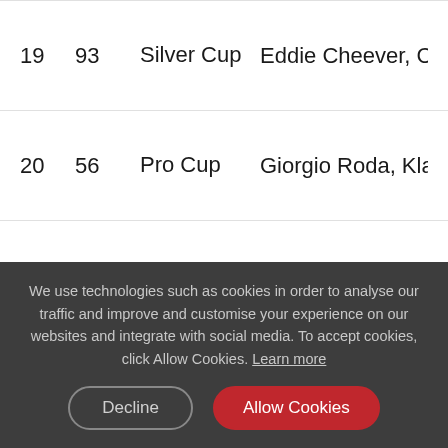| Position | Number | Class | Drivers |
| --- | --- | --- | --- |
| 19 | 93 | Silver Cup | Eddie Cheever, Chris Froggatt |
| 20 | 56 | Pro Cup | Giorgio Roda, Klaus Bachler |
| 21 | 111 | Pro-Am Cup | Patryk Krupinski, Christian Klie... |
| 22 | 91 | Pro-Am Cup | ... |
We use technologies such as cookies in order to analyse our traffic and improve and customise your experience on our websites and integrate with social media. To accept cookies, click Allow Cookies. Learn more